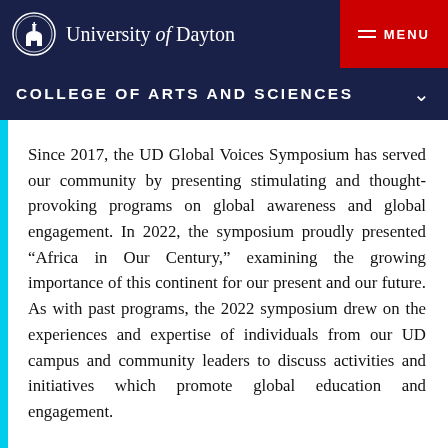University of Dayton
COLLEGE OF ARTS AND SCIENCES
Since 2017, the UD Global Voices Symposium has served our community by presenting stimulating and thought-provoking programs on global awareness and global engagement. In 2022, the symposium proudly presented “Africa in Our Century,” examining the growing importance of this continent for our present and our future. As with past programs, the 2022 symposium drew on the experiences and expertise of individuals from our UD campus and community leaders to discuss activities and initiatives which promote global education and engagement.